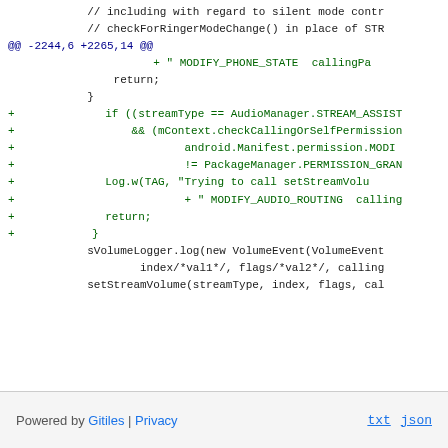// including with regard to silent mode contr...
// checkForRingerModeChange() in place of STR...
@@ -2244,6 +2265,14 @@
     + " MODIFY_PHONE_STATE  callingPa...
        return;
    }
+        if ((streamType == AudioManager.STREAM_ASSIST...
+            && (mContext.checkCallingOrSelfPermission...
+                    android.Manifest.permission.MODI...
+                    != PackageManager.PERMISSION_GRAN...
+            Log.w(TAG, "Trying to call setStreamVolu...
+                    + " MODIFY_AUDIO_ROUTING  calling...
+            return;
+        }
        sVolumeLogger.log(new VolumeEvent(VolumeEvent...
                index/*val1*/, flags/*val2*/, calling...
        setStreamVolume(streamType, index, flags, cal...
Powered by Gitiles | Privacy    txt  json